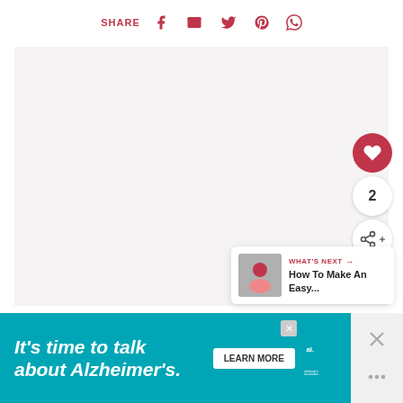SHARE [social icons: Facebook, Email, Twitter, Pinterest, WhatsApp]
[Figure (photo): Large light-colored image area (photo content not visible)]
[Figure (infographic): Floating action buttons: heart/like button (red circle), count '2', share button (white circle)]
WHAT'S NEXT → How To Make An Easy...
It's time to talk about Alzheimer's.  LEARN MORE  [Alzheimer's Association logo]